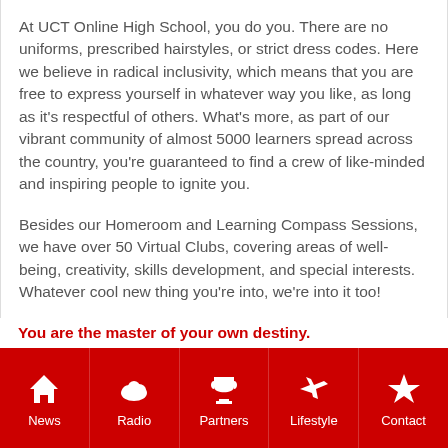At UCT Online High School, you do you. There are no uniforms, prescribed hairstyles, or strict dress codes. Here we believe in radical inclusivity, which means that you are free to express yourself in whatever way you like, as long as it's respectful of others. What's more, as part of our vibrant community of almost 5000 learners spread across the country, you're guaranteed to find a crew of like-minded and inspiring people to ignite you.
Besides our Homeroom and Learning Compass Sessions, we have over 50 Virtual Clubs, covering areas of well-being, creativity, skills development, and special interests. Whatever cool new thing you're into, we're into it too!
You are the master of your own destiny.
News | Radio | Partners | Lifestyle | Contact